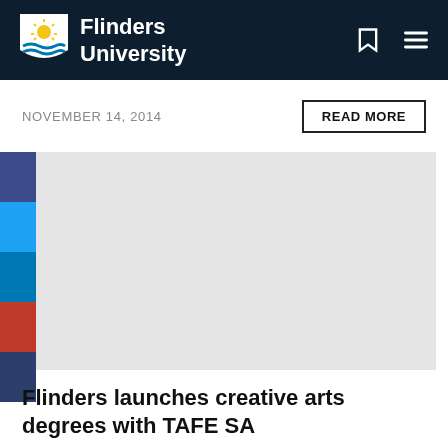Flinders University
NOVEMBER 14, 2014
READ MORE
[Figure (screenshot): Large grey placeholder image area for article photo]
Flinders launches creative arts degrees with TAFE SA